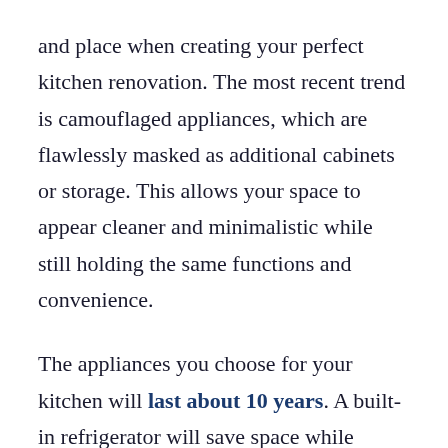and place when creating your perfect kitchen renovation. The most recent trend is camouflaged appliances, which are flawlessly masked as additional cabinets or storage. This allows your space to appear cleaner and minimalistic while still holding the same functions and convenience.
The appliances you choose for your kitchen will last about 10 years. A built-in refrigerator will save space while looking stylish. Adding a dual oven or microwave drawer can make cooking user-friendly and more enjoyable. You have the opportunity to explore the best ways to highlight your new appliances or tuck them away to surprise your